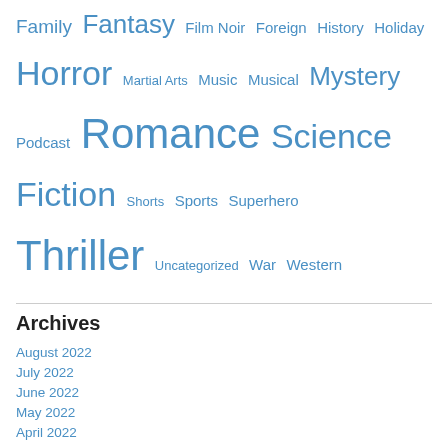Family  Fantasy  Film Noir  Foreign  History  Holiday  Horror  Martial Arts  Music  Musical  Mystery  Podcast  Romance  Science Fiction  Shorts  Sports  Superhero  Thriller  Uncategorized  War  Western
Archives
August 2022
July 2022
June 2022
May 2022
April 2022
March 2022
February 2022
January 2022
December 2021
November 2021
October 2021